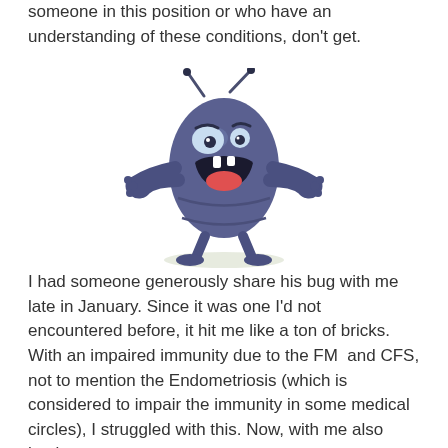someone in this position or who have an understanding of these conditions, don't get.
[Figure (illustration): Cartoon illustration of a grumpy blue bug/flea character with antennae, glaring eyes, open mouth showing teeth, and arms gesturing outward.]
I had someone generously share his bug with me late in January. Since it was one I'd not encountered before, it hit me like a ton of bricks. With an impaired immunity due to the FM  and CFS, not to mention the Endometriosis (which is considered to impair the immunity in some medical circles), I struggled with this. Now, with me also having